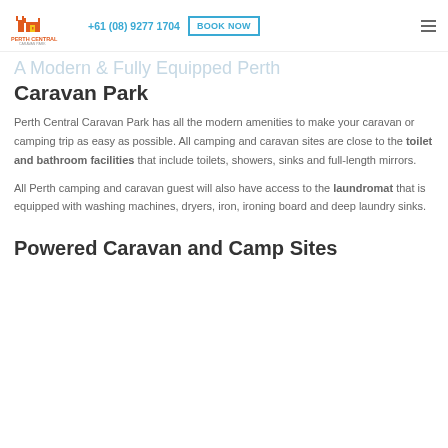+61 (08) 9277 1704 | BOOK NOW
[Figure (logo): Perth Central Caravan Park logo with orange castle/buildings icon and red/orange text]
A Modern & Fully Equipped Perth Caravan Park
Perth Central Caravan Park has all the modern amenities to make your caravan or camping trip as easy as possible. All camping and caravan sites are close to the toilet and bathroom facilities that include toilets, showers, sinks and full-length mirrors.
All Perth camping and caravan guest will also have access to the laundromat that is equipped with washing machines, dryers, iron, ironing board and deep laundry sinks.
Powered Caravan and Camp Sites